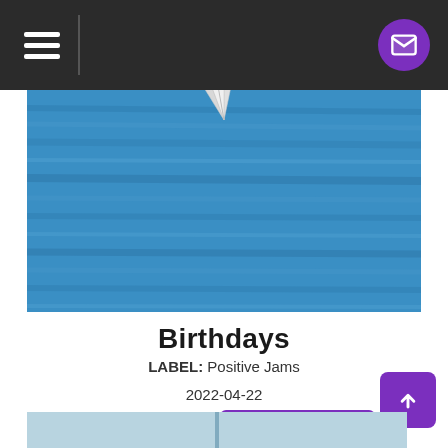Navigation bar with hamburger menu and mail icon
[Figure (photo): Album art showing a paper airplane on a textured blue painted surface, viewed from above.]
Birthdays
LABEL: Positive Jams
2022-04-22
MP3 Album: $0.99  DOWNLOAD
[Figure (photo): Bottom strip showing a partial view of a light blue image.]